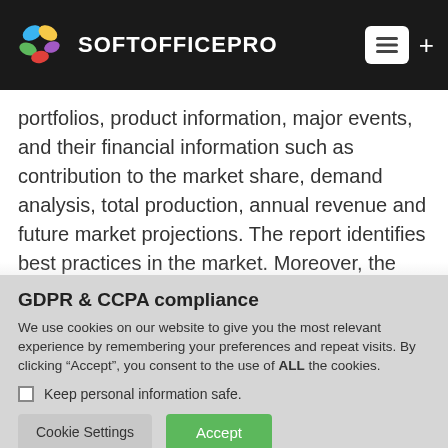SOFTOFFICEPRO
portfolios, product information, major events, and their financial information such as contribution to the market share, demand analysis, total production, annual revenue and future market projections. The report identifies best practices in the market. Moreover, the report identifies the
GDPR & CCPA compliance
We use cookies on our website to give you the most relevant experience by remembering your preferences and repeat visits. By clicking “Accept”, you consent to the use of ALL the cookies.
Keep personal information safe.